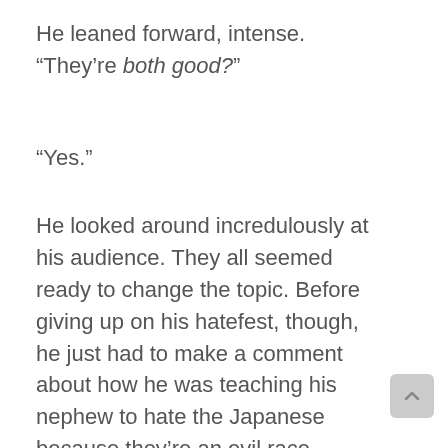He leaned forward, intense. “They’re both good?”
“Yes.”
He looked around incredulously at his audience. They all seemed ready to change the topic. Before giving up on his hatefest, though, he just had to make a comment about how he was teaching his nephew to hate the Japanese because they’re an evil race.